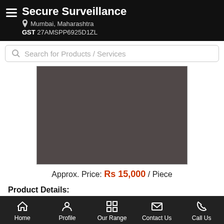Secure Surveillance — Mumbai, Maharashtra — GST 27AMSPP6925D1ZL
Search for Products / Services
[Figure (photo): Product image placeholder — dark brownish-grey rectangle representing a surveillance product]
Approx. Price: Rs 15,000 / Piece
Product Details:
Home | Profile | Our Range | Contact Us | Call Us